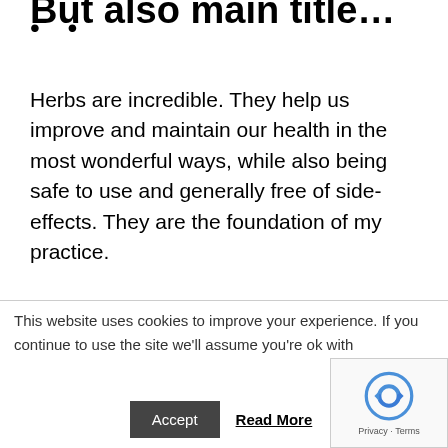• •
Herbs are incredible. They help us improve and maintain our health in the most wonderful ways, while also being safe to use and generally free of side-effects. They are the foundation of my practice.
But amazing as herbs are, the most
This website uses cookies to improve your experience. If you continue to use the site we'll assume you're ok with
Accept   Read More